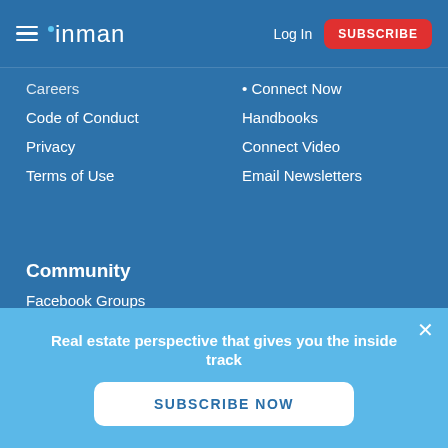inman | Log In | SUBSCRIBE
Careers
Code of Conduct
Privacy
Terms of Use
Connect Now
Handbooks
Connect Video
Email Newsletters
Community
Facebook Groups
Coast to Coast
Agent to Agent
Broker to Broker
Vendors Vendor
Real estate perspective that gives you the inside track
SUBSCRIBE NOW